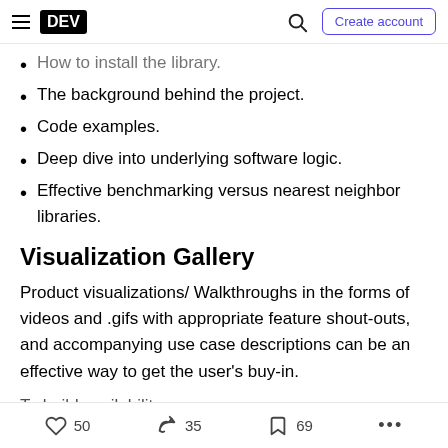DEV — Create account
How to install the library.
The background behind the project.
Code examples.
Deep dive into underlying software logic.
Effective benchmarking versus nearest neighbor libraries.
Visualization Gallery
Product visualizations/ Walkthroughs in the forms of videos and .gifs with appropriate feature shout-outs, and accompanying use case descriptions can be an effective way to get the user's buy-in.
50  35  69  ...